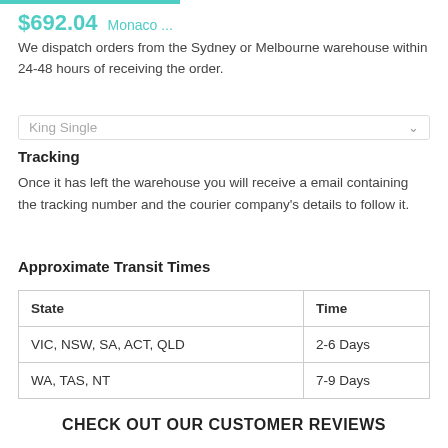$692.04   Monaco ...
We dispatch orders from the Sydney or Melbourne warehouse within 24-48 hours of receiving the order.
King Single
Tracking
Once it has left the warehouse you will receive a email containing the tracking number and the courier company's details to follow it.
Approximate Transit Times
| State | Time |
| --- | --- |
| VIC, NSW, SA, ACT, QLD | 2-6 Days |
| WA, TAS, NT | 7-9 Days |
CHECK OUT OUR CUSTOMER REVIEWS